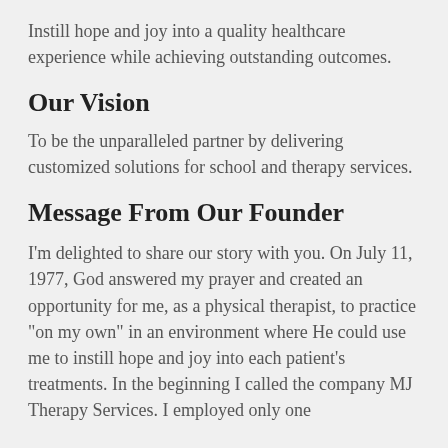Instill hope and joy into a quality healthcare experience while achieving outstanding outcomes.
Our Vision
To be the unparalleled partner by delivering customized solutions for school and therapy services.
Message From Our Founder
I'm delighted to share our story with you. On July 11, 1977, God answered my prayer and created an opportunity for me, as a physical therapist, to practice "on my own" in an environment where He could use me to instill hope and joy into each patient's treatments. In the beginning I called the company MJ Therapy Services. I employed only one